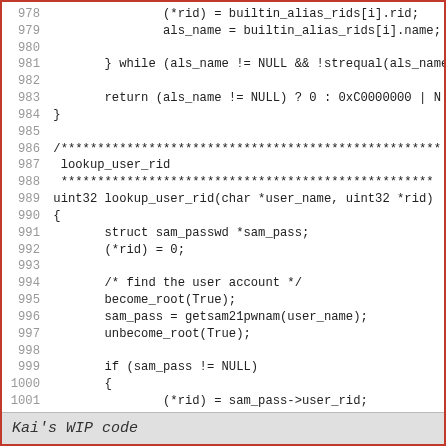[Figure (other): Source code listing in C, lines 978-1006, showing builtin alias RID lookup and lookup_user_rid function implementation]
Kai's WIP code